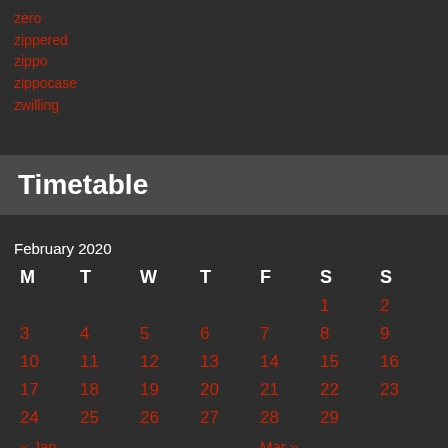zero
zippered
zippo
zippocase
zwilling
Timetable
| M | T | W | T | F | S | S |
| --- | --- | --- | --- | --- | --- | --- |
|  |  |  |  |  | 1 | 2 |
| 3 | 4 | 5 | 6 | 7 | 8 | 9 |
| 10 | 11 | 12 | 13 | 14 | 15 | 16 |
| 17 | 18 | 19 | 20 | 21 | 22 | 23 |
| 24 | 25 | 26 | 27 | 28 | 29 |  |
| « Jan |  |  |  | Mar » |  |  |